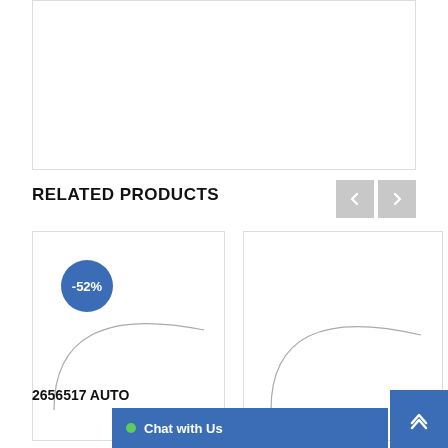[Figure (photo): Product image placeholder — white box with border]
RELATED PRODUCTS
[Figure (screenshot): E-commerce product card 1 with -52% discount badge and partial circular product image (suture/thread spool)]
[Figure (screenshot): E-commerce product card 2 with partial circular product image (suture/thread spool), no badge visible]
2656517 AUTO
Chat with Us